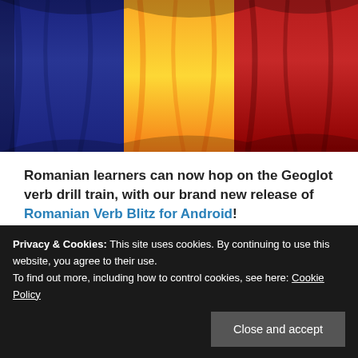[Figure (photo): Romanian flag with blue, yellow, and red vertical stripes, draped in fabric folds]
Romanian learners can now hop on the Geoglot verb drill train, with our brand new release of Romanian Verb Blitz for Android!
It's always an exciting moment when we release a new
Privacy & Cookies: This site uses cookies. By continuing to use this website, you agree to their use.
To find out more, including how to control cookies, see here: Cookie Policy
by Roman settlers in Dacia – roughly modern-day